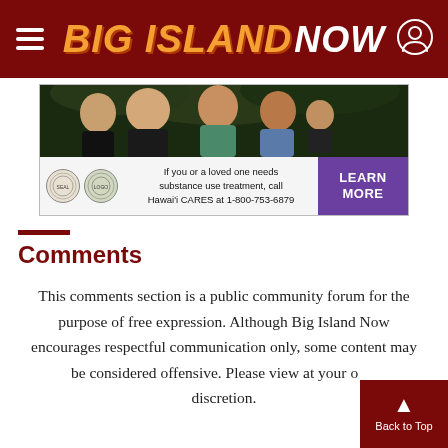BIG ISLAND NOW
[Figure (photo): Advertisement showing a group of people with text: If you or a loved one needs substance use treatment, call Hawai'i CARES at 1-800-753-6879. LEARN MORE button in purple.]
Comments
This comments section is a public community forum for the purpose of free expression. Although Big Island Now encourages respectful communication only, some content may be considered offensive. Please view at your own discretion.